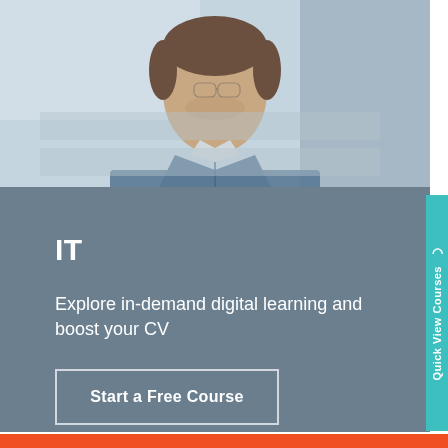[Figure (photo): Photo of a young man in a blue denim shirt, looking off to the side, in a light/blue-grey background environment]
IT
Explore in-demand digital learning and boost your CV
Start a Free Course
[Figure (other): Quick View Courses vertical teal tab on right side with circular arrow icon]